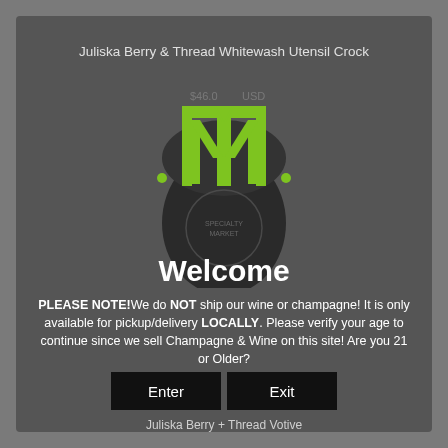Juliska Berry & Thread Whitewash Utensil Crock
[Figure (logo): Green and black interlocked TM/TMK monogram logo with dots on sides, overlaid on a dark glass vessel/crock with a circular emblem]
Welcome
PLEASE NOTE!We do NOT ship our wine or champagne! It is only available for pickup/delivery LOCALLY. Please verify your age to continue since we sell Champagne & Wine on this site! Are you 21 or Older?
Enter
Exit
Juliska Berry + Thread Votive
$22.00 USD